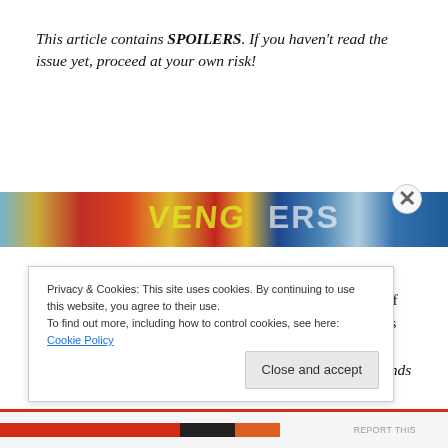This article contains SPOILERS. If you haven't read the issue yet, proceed at your own risk!
[Figure (photo): A colorful horizontal banner image showing superhero comic book artwork with bold reds, blues, and yellows typical of comic book covers.]
For as many superhero comics there are out there, it's remarkable how little diversity there is — both in terms of representation and narrative variety. Those are both points that have been made to death, but are rarely mentioned in the same breath. But with Black Lighting: Cold Dead Hands 2. Tony Isabella and Clayton Henry make a strong
Privacy & Cookies: This site uses cookies. By continuing to use this website, you agree to their use.
To find out more, including how to control cookies, see here: Cookie Policy